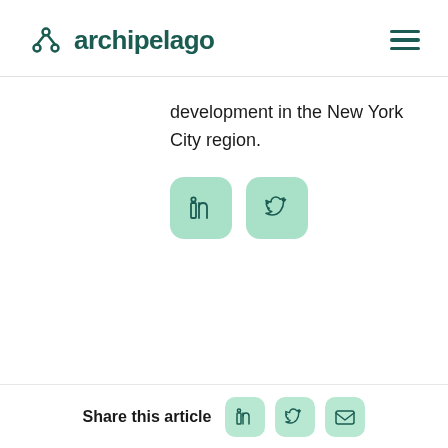archipelago
development in the New York City region.
[Figure (other): LinkedIn and Twitter social share icon buttons (rounded green squares)]
Share this article
[Figure (other): LinkedIn, Twitter, and email share icon buttons in bottom bar]